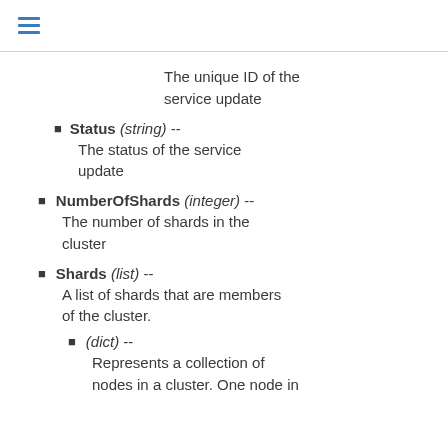≡
The unique ID of the service update
Status (string) --
The status of the service update
NumberOfShards (integer) --
The number of shards in the cluster
Shards (list) --
A list of shards that are members of the cluster.
(dict) --
Represents a collection of nodes in a cluster. One node in